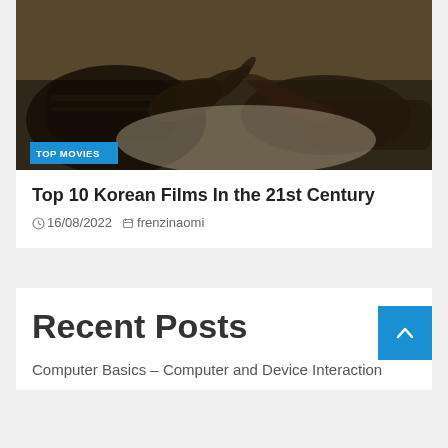[Figure (photo): Dark photograph of two hands reaching toward each other against a light background, with a 'TOP MOVIES' blue badge overlay in the bottom left]
Top 10 Korean Films In the 21st Century
16/08/2022  frenzinaomi
Recent Posts
Computer Basics – Computer and Device Interaction